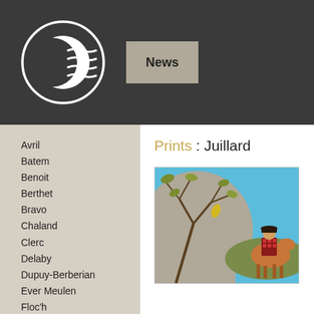[Figure (logo): Circular logo with crescent moon and wave lines on dark background]
News
Avril
Batem
Benoit
Berthet
Bravo
Chaland
Clerc
Delaby
Dupuy-Berberian
Ever Meulen
Floc'h
Francq
Frank
Franquin
Giardino
Guardino
Prints : Juillard
[Figure (illustration): Comic book style illustration with tree branches and leaves in foreground, blue sky background, figure on horseback in right portion]